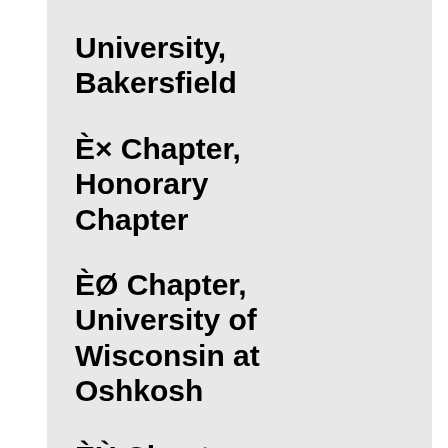University, Bakersfield
Èx Chapter, Honorary Chapter
ÈØ Chapter, University of Wisconsin at Oshkosh
ÈÙ Chapter, Appalachian State University
ÉÁ Chapter, University of North Carolina at Wilmington
ÉÂ Chapter, Missouri State University
ÉÃ Chapter, Grand Valley